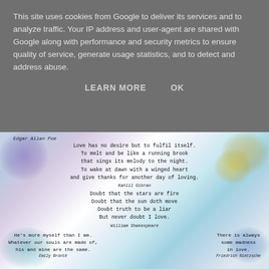This site uses cookies from Google to deliver its services and to analyze traffic. Your IP address and user-agent are shared with Google along with performance and security metrics to ensure quality of service, generate usage statistics, and to detect and address abuse.
LEARN MORE    OK
[Figure (illustration): A decorative art background with splashes of purple, blue, teal, yellow/gold paint, overlaid with typewriter-font poetry quotes attributed to Edgar Allan Poe, Kahlil Gibran, William Shakespeare, Emily Bronte, and Friedrich Nietzsche.]